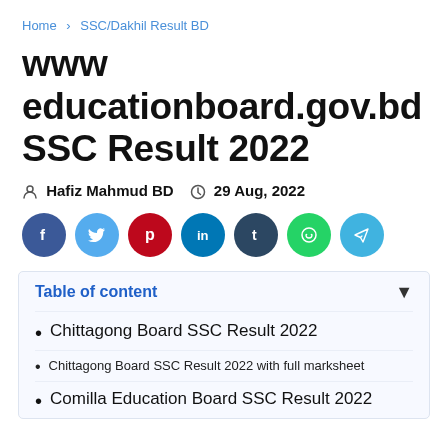Home › SSC/Dakhil Result BD
www educationboard.gov.bd SSC Result 2022
Hafiz Mahmud BD   29 Aug, 2022
[Figure (infographic): Social share buttons: Facebook (dark blue), Twitter (light blue), Pinterest (red), LinkedIn (dark blue), Tumblr (dark navy), WhatsApp (green), Telegram (light blue)]
Table of content
Chittagong Board SSC Result 2022
Chittagong Board SSC Result 2022 with full marksheet
Comilla Education Board SSC Result 2022